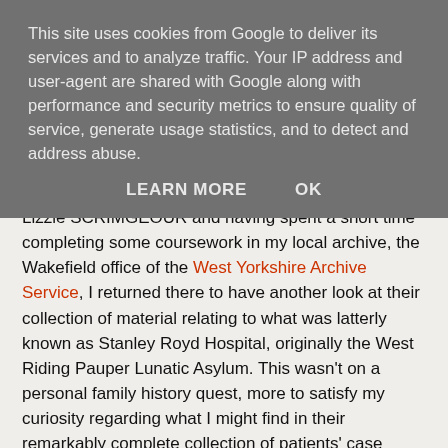This site uses cookies from Google to deliver its services and to analyze traffic. Your IP address and user-agent are shared with Google along with performance and security metrics to ensure quality of service, generate usage statistics, and to detect and address abuse.
LEARN MORE   OK
Lizzie SCRIMGEOUR and having spent a short time completing some coursework in my local archive, the Wakefield office of the West Yorkshire Archive Service, I returned there to have another look at their collection of material relating to what was latterly known as Stanley Royd Hospital, originally the West Riding Pauper Lunatic Asylum. This wasn't on a personal family history quest, more to satisfy my curiosity regarding what I might find in their remarkably complete collection of patients' case notes. I can still remember the extraordinary buzz I felt opening my first large case book to read the handwritten physician's notes from nearly 200 years ago. I was hooked by a record set full of factual material some of which is stranger than fiction. Three years later, having trawled through an estimated